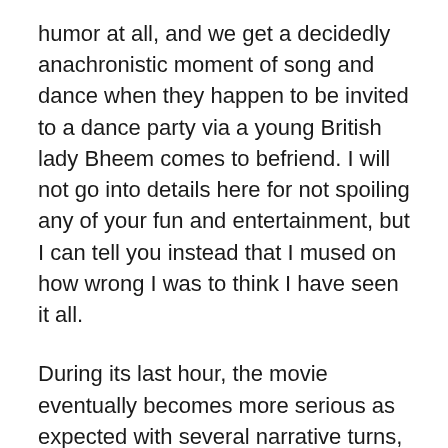humor at all, and we get a decidedly anachronistic moment of song and dance when they happen to be invited to a dance party via a young British lady Bheem comes to befriend. I will not go into details here for not spoiling any of your fun and entertainment, but I can tell you instead that I mused on how wrong I was to think I have seen it all.
During its last hour, the movie eventually becomes more serious as expected with several narrative turns, and we are surely served with a series of blatant melodramatic scenes to touch and galvanize its local audiences. The part involved with Raju's hometown sweetheart feels rather obligatory, and what happens between her and Bheem later in the story is pretty contrived to say the least, but you will probably forgive that and several other shortcomings of director/writer S.S. Rajamouli's...